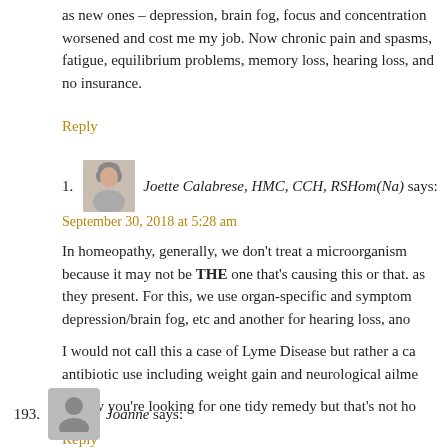as new ones – depression, brain fog, focus and concentration worsened and cost me my job. Now chronic pain and spasms, fatigue, equilibrium problems, memory loss, hearing loss, and no insurance.
Reply
1. Joette Calabrese, HMC, CCH, RSHom(Na) says: September 30, 2018 at 5:28 am

In homeopathy, generally, we don't treat a microorganism because it may not be THE one that's causing this or that. as they present. For this, we use organ-specific and symptom depression/brain fog, etc and another for hearing loss, ano

I would not call this a case of Lyme Disease but rather a ca antibiotic use including weight gain and neurological ailme

I know you're looking for one tidy remedy but that's not ho

Reply
193. Joanne says: